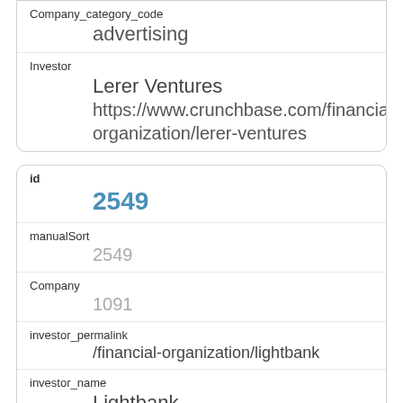Company_category_code
advertising
Investor
Lerer Ventures
https://www.crunchbase.com/financial-organization/lerer-ventures
id
2549
manualSort
2549
Company
1091
investor_permalink
/financial-organization/lightbank
investor_name
Lightbank
investor_category_code
investor_country_code
USA